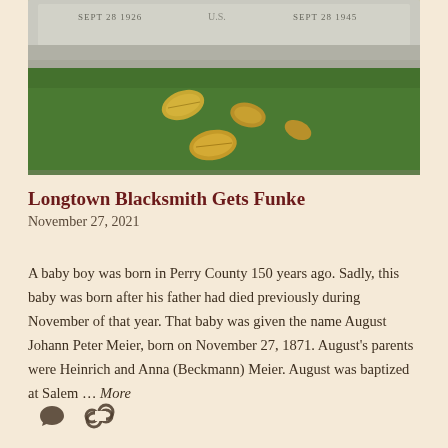[Figure (photo): A gravestone photographed from above, partially visible at the top of the image. The stone shows dates including 'SEPT 28 1926' and 'SEPT 28 1945'. Below the stone is green grass with fallen autumn leaves.]
Longtown Blacksmith Gets Funke
November 27, 2021
A baby boy was born in Perry County 150 years ago. Sadly, this baby was born after his father had died previously during November of that year. That baby was given the name August Johann Peter Meier, born on November 27, 1871. August's parents were Heinrich and Anna (Beckmann) Meier. August was baptized at Salem … More